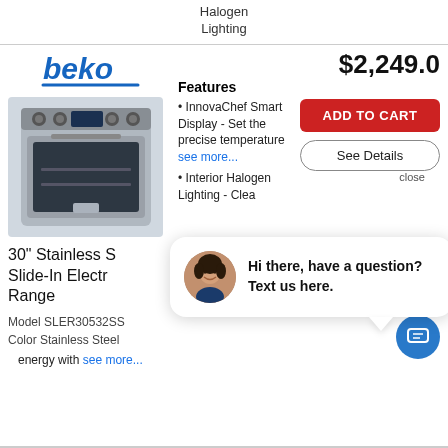Halogen
Lighting
[Figure (logo): Beko brand logo in blue italic text with blue underline]
[Figure (photo): 30 inch stainless steel slide-in electric range product photo]
$2,249.0
Features
InnovaChef Smart Display - Set the precise temperature see more...
Interior Halogen Lighting - Clea...
ADD TO CART
See Details
close
30" Stainless S... Slide-In Electr... Range
Model SLER30532SS
Color Stainless Steel
[Figure (photo): Chat bot avatar: woman with dark hair smiling]
Hi there, have a question? Text us here.
energy with see more...